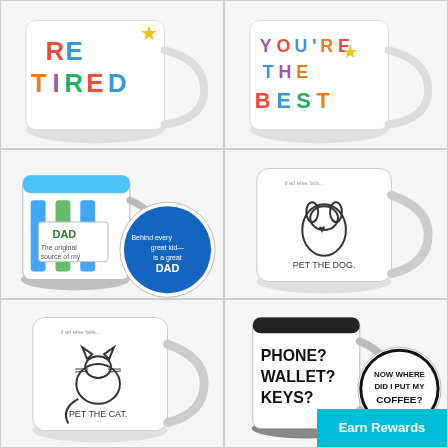[Figure (photo): White ceramic mug with colorful letters reading 'YOU'RE TIRED' in patterned style, top-left cropped view]
[Figure (photo): White ceramic mug with colorful letters reading 'YOU'RE THE BEST' with star, top-right cropped view]
[Figure (photo): Colorful mug set: blue-interior mug with 'DAD The original source of my good looks and charm' and round coaster reading 'Behind every great kid is a great DAD']
[Figure (photo): White ceramic mug with black line drawing of a dog and text 'if all else fails... PET THE DOG']
[Figure (photo): White ceramic mug with black line drawing of a cat and text 'if all else fails... PET THE CAT']
[Figure (photo): Black interior mug with text 'PHONE? WALLET? KEYS?' and round coaster reading 'NOW WHERE DID I PUT MY COFFEE?']
Earn Rewards